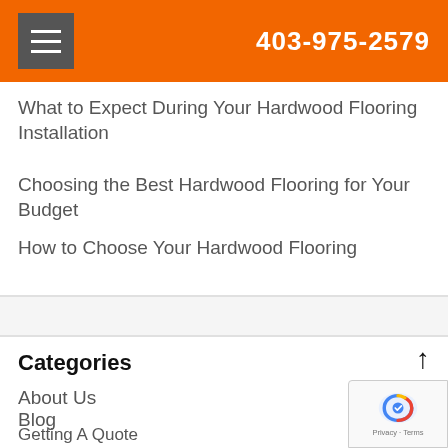403-975-2579
What to Expect During Your Hardwood Flooring Installation
Choosing the Best Hardwood Flooring for Your Budget
How to Choose Your Hardwood Flooring
Categories
About Us
Blog
Getting A Quote
Hardwood Flooring
Installation